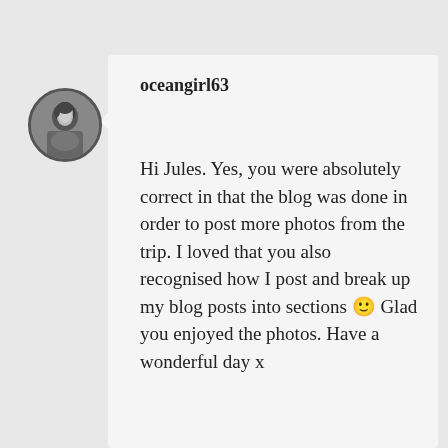[Figure (photo): Circular avatar photo of a person (black and white)]
oceangirl63
Hi Jules. Yes, you were absolutely correct in that the blog was done in order to post more photos from the trip. I loved that you also recognised how I post and break up my blog posts into sections 🙂 Glad you enjoyed the photos. Have a wonderful day x